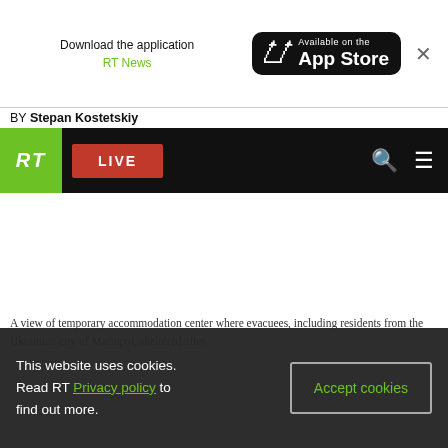[Figure (screenshot): RT news website screenshot showing app download banner, navigation bar with RT logo and LIVE button, and a partially visible image of a temporary accommodation center.]
Download the application
RT News
Available on the App Store
BY Stepan Kostetskiy
RT  LIVE
A view of temporary accommodation center where evacuees, including residents from the Ukrainian city of Mariupol, sheltered after
This website uses cookies. Read RT Privacy policy to find out more.
Accept cookies